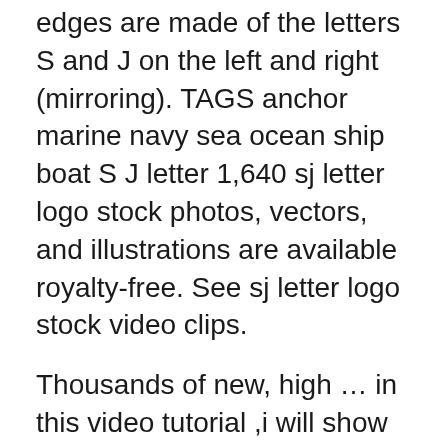edges are made of the letters S and J on the left and right (mirroring). TAGS anchor marine navy sea ocean ship boat S J letter 1,640 sj letter logo stock photos, vectors, and illustrations are available royalty-free. See sj letter logo stock video clips.
Thousands of new, high … in this video tutorial ,i will show some best tips about Logo Deisgn..Logo Design Tutorial | SJ - JS Log Nov 10, 2019 - Initial Letter SJ Logo Template Vector Design - Buy this stock vector and explore similar vectors at Adobe Stock Illustration about SJ Brush Stroke Letter Logo Design. Black Paint Logo Letters Icon with Elegant Circle Vector Design. Illustration of text, sign, business - 99885003 Sj letter initial with lion royal logo template - download this royalty free Vector in seconds. No membership needed. Aug 10, 2019 -